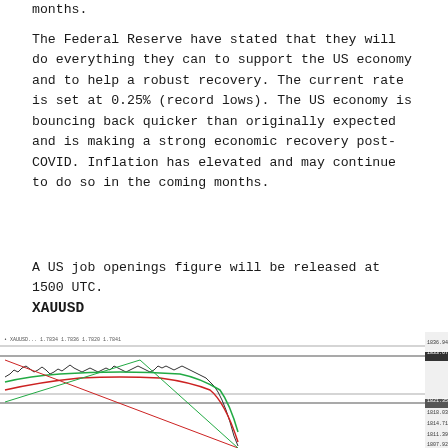months.
The Federal Reserve have stated that they will do everything they can to support the US economy and to help a robust recovery. The current rate is set at 0.25% (record lows). The US economy is bouncing back quicker than originally expected and is making a strong economic recovery post-COVID. Inflation has elevated and may continue to do so in the coming months.
A US job openings figure will be released at 1500 UTC.
XAUUSD
[Figure (continuous-plot): XAUUSD candlestick/line chart showing price action with price levels marked on right axis, two moving average curves (red and green), and horizontal support/resistance lines. Price drops sharply in the right portion of the chart.]